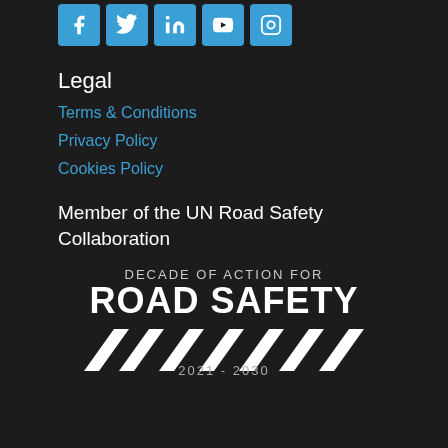[Figure (logo): Social media icons: Facebook, Twitter, LinkedIn, YouTube, Instagram — blue square buttons]
Legal
Terms & Conditions
Privacy Policy
Cookies Policy
Member of the UN Road Safety Collaboration
[Figure (logo): Decade of Action for Road Safety 2021-2030 logo with pedestrian crossing stripes and text]